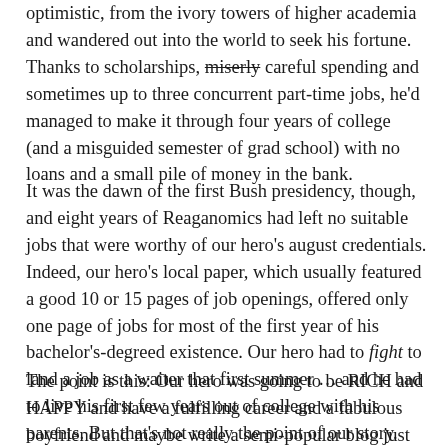optimistic, from the ivory towers of higher academia and wandered out into the world to seek his fortune. Thanks to scholarships, miserly [strikethrough] careful spending and sometimes up to three concurrent part-time jobs, he'd managed to make it through four years of college (and a misguided semester of grad school) with no loans and a small pile of money in the bank.
It was the dawn of the first Bush presidency, though, and eight years of Reaganomics had left no suitable jobs that were worthy of our hero's august credentials. Indeed, our hero's local paper, which usually featured a good 10 or 15 pages of job openings, offered only one page of jobs for most of the first year of his bachelor's-degreed existence. Our hero had to fight [italic] to land a job as a waiter that first summer … and he had to live his first few years out of college with his parents. But that's not really the point of our story.
The point is this: Our hero was going to be RICH and HAPPY and have a fulfilling career and a fabulous boyfriend and maybe write a semi-popular blog just as soon as blogs